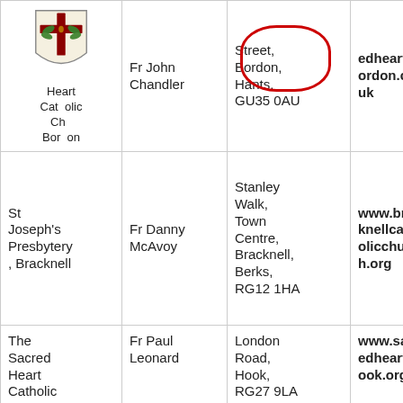| Church | Priest | Address | Website |  |
| --- | --- | --- | --- | --- |
| Sacred Heart Catholic Church, Bordon | Fr John Chandler | Street, Bordon, Hants, GU35 0AU | edheartbordon.co.uk | ☰ |
| St Joseph's Presbytery, Bracknell | Fr Danny McAvoy | Stanley Walk, Town Centre, Bracknell, Berks, RG12 1HA | www.bracknellcatholicchurch.org |  |
| The Sacred Heart Catholic Church, Hook | Fr Paul Leonard | London Road, Hook, RG27 9LA | www.sacredhearth ook.org |  |